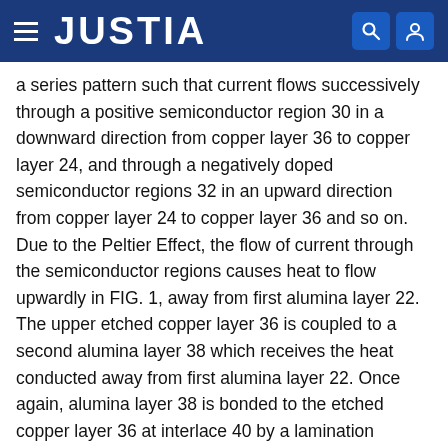JUSTIA
a series pattern such that current flows successively through a positive semiconductor region 30 in a downward direction from copper layer 36 to copper layer 24, and through a negatively doped semiconductor regions 32 in an upward direction from copper layer 24 to copper layer 36 and so on. Due to the Peltier Effect, the flow of current through the semiconductor regions causes heat to flow upwardly in FIG. 1, away from first alumina layer 22. The upper etched copper layer 36 is coupled to a second alumina layer 38 which receives the heat conducted away from first alumina layer 22. Once again, alumina layer 38 is bonded to the etched copper layer 36 at interlace 40 by a lamination process. Finally, alumina layer 38 is coupled at its face opposite etched copper layer 36 to a heat sink 42. Heat sink 42 typically comprises a heavy mass of thermally conductive metal such as aluminum or copper which is cast in a shape